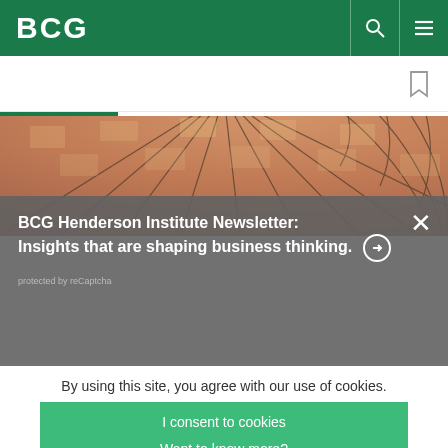BCG
[Figure (screenshot): BCG website header with green background, BCG logo on left, search and menu icons on right]
[Figure (photo): Aerial view of a radial brick/tile patterned floor]
BCG Henderson Institute Newsletter: Insights that are shaping business thinking.
protected by reCaptcha
By using this site, you agree with our use of cookies.
I consent to cookies
Want to know more?
Read our Cookie Policy